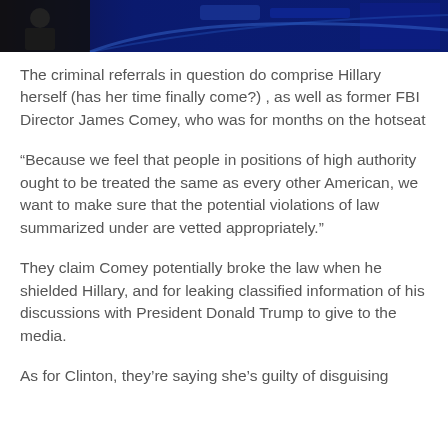[Figure (screenshot): Top portion of a news broadcast screenshot showing a dark blue background with graphics and a partial figure/person silhouette on the left side.]
The criminal referrals in question do comprise Hillary herself (has her time finally come?) , as well as former FBI Director James Comey, who was for months on the hotseat
“Because we feel that people in positions of high authority ought to be treated the same as every other American, we want to make sure that the potential violations of law summarized under are vetted appropriately.”
They claim Comey potentially broke the law when he shielded Hillary, and for leaking classified information of his discussions with President Donald Trump to give to the media.
As for Clinton, they’re saying she’s guilty of disguising